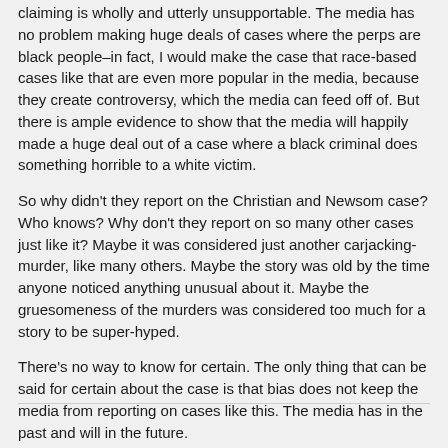claiming is wholly and utterly unsupportable. The media has no problem making huge deals of cases where the perps are black people–in fact, I would make the case that race-based cases like that are even more popular in the media, because they create controversy, which the media can feed off of. But there is ample evidence to show that the media will happily made a huge deal out of a case where a black criminal does something horrible to a white victim.
So why didn't they report on the Christian and Newsom case? Who knows? Why don't they report on so many other cases just like it? Maybe it was considered just another carjacking-murder, like many others. Maybe the story was old by the time anyone noticed anything unusual about it. Maybe the gruesomeness of the murders was considered too much for a story to be super-hyped.
There's no way to know for certain. The only thing that can be said for certain about the case is that bias does not keep the media from reporting on cases like this. The media has in the past and will in the future.